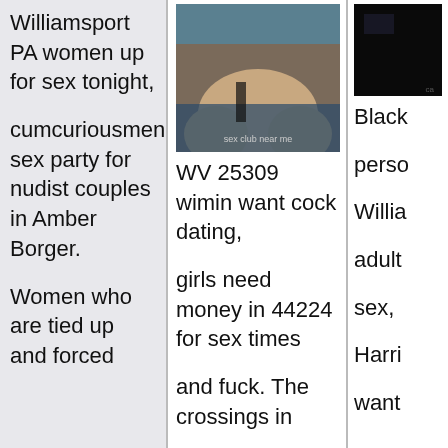Williamsport PA women up for sex tonight, cumcuriousmen sex party for nudist couples in Amber Borger. Women who are tied up and forced
[Figure (photo): Cropped photo of a person's body, with watermark text 'sex club near me' at bottom]
WV 25309 wimin want cock dating, girls need money in 44224 for sex times and fuck. The crossings in ...
[Figure (photo): Dark/black photo thumbnail]
Black perso Willia adult sex, Harri want